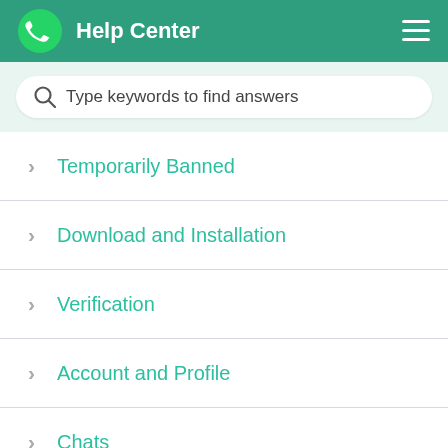Help Center
Type keywords to find answers
Temporarily Banned
Download and Installation
Verification
Account and Profile
Chats